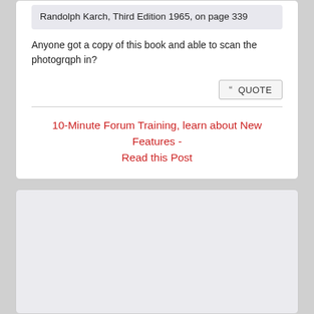Randolph Karch, Third Edition 1965, on page 339
Anyone got a copy of this book and able to scan the photogrqph in?
“ QUOTE
10-Minute Forum Training, learn about New Features - Read this Post